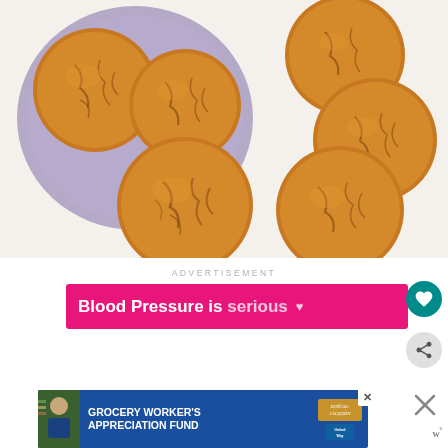[Figure (photo): Overhead photo of golden-brown crinkle cookies on a white speckled surface, with some cookies on a lavender/gray plate (top left) and loose cookies scattered to the right and center-bottom.]
ADVERTISEMENT
[Figure (other): Pink/magenta banner advertisement reading 'Blood Pressure is serious' with a small heart icon, accompanied by a teal circular heart button on the right.]
[Figure (other): Gray circular share button with share icon.]
[Figure (other): Blue banner advertisement for 'Grocery Worker's Appreciation Fund' featuring Kendall-Jackson and United Way logos, with a grocery worker photo on the left. Has a close (X) button. Large X and 'w°' icons appear to the right.]